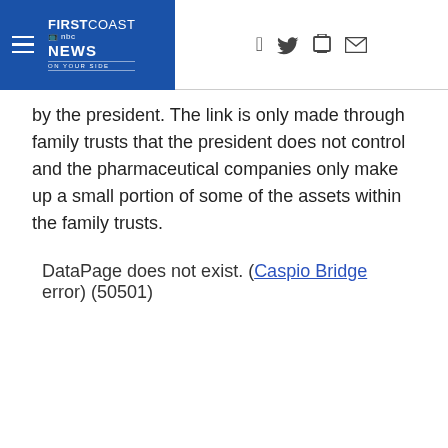FIRSTCOAST NEWS ON YOUR SIDE
by the president. The link is only made through family trusts that the president does not control and the pharmaceutical companies only make up a small portion of some of the assets within the family trusts.
DataPage does not exist. (Caspio Bridge error) (50501)